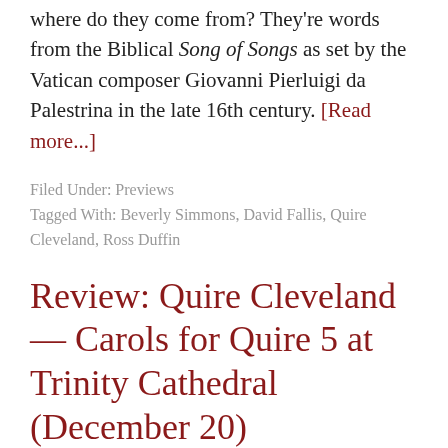where do they come from? They're words from the Biblical Song of Songs as set by the Vatican composer Giovanni Pierluigi da Palestrina in the late 16th century. [Read more...]
Filed Under: Previews
Tagged With: Beverly Simmons, David Fallis, Quire Cleveland, Ross Duffin
Review: Quire Cleveland — Carols for Quire 5 at Trinity Cathedral (December 20)
December 21, 2013 by Special to